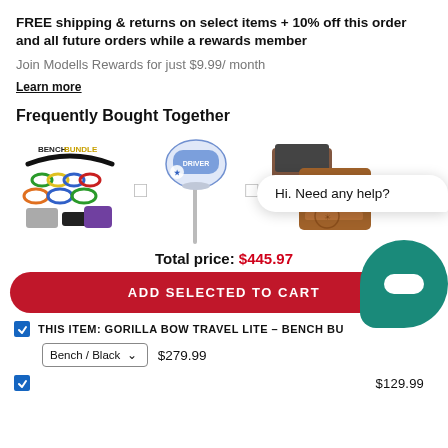FREE shipping & returns on select items + 10% off this order and all future orders while a rewards member
Join Modells Rewards for just $9.99/ month
Learn more
Frequently Bought Together
[Figure (photo): Three product images in a row: Bench Bundle resistance band set, a golf driver club head, and a brown leather bifold wallet, separated by plus signs.]
Total price: $445.97
ADD SELECTED TO CART
Hi. Need any help?
THIS ITEM: GORILLA BOW TRAVEL LITE – BENCH BUNDLE
Bench / Black  $279.99
$129.99